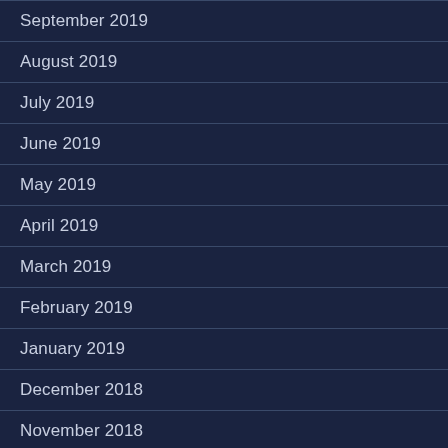September 2019
August 2019
July 2019
June 2019
May 2019
April 2019
March 2019
February 2019
January 2019
December 2018
November 2018
October 2018
August 2018
July 2018
May 2018